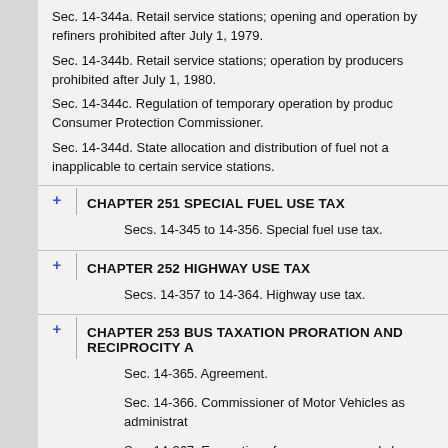Sec. 14-344a. Retail service stations; opening and operation by refiners prohibited after July 1, 1979.
Sec. 14-344b. Retail service stations; operation by producers prohibited after July 1, 1980.
Sec. 14-344c. Regulation of temporary operation by producers by Consumer Protection Commissioner.
Sec. 14-344d. State allocation and distribution of fuel not applicable to certain service stations.
CHAPTER 251 SPECIAL FUEL USE TAX
Secs. 14-345 to 14-356. Special fuel use tax.
CHAPTER 252 HIGHWAY USE TAX
Secs. 14-357 to 14-364. Highway use tax.
CHAPTER 253 BUS TAXATION PRORATION AND RECIPROCITY A
Sec. 14-365. Agreement.
Sec. 14-366. Commissioner of Motor Vehicles as administrat
Sec. 14-367. Exemptions from coverage and changes in rang